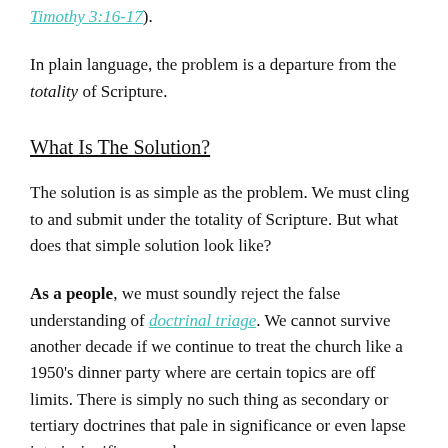Timothy 3:16-17).
In plain language, the problem is a departure from the totality of Scripture.
What Is The Solution?
The solution is as simple as the problem. We must cling to and submit under the totality of Scripture. But what does that simple solution look like?
As a people, we must soundly reject the false understanding of doctrinal triage. We cannot survive another decade if we continue to treat the church like a 1950's dinner party where are certain topics are off limits. There is simply no such thing as secondary or tertiary doctrines that pale in significance or even lapse into insignificance when